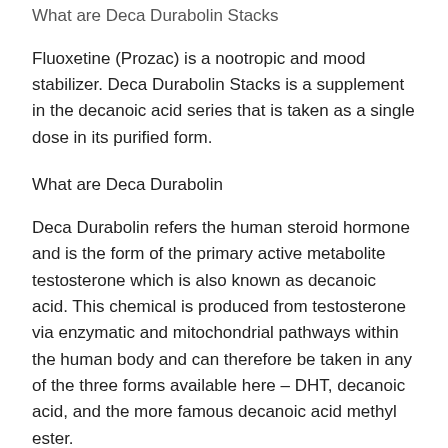What are Deca Durabolin Stacks
Fluoxetine (Prozac) is a nootropic and mood stabilizer. Deca Durabolin Stacks is a supplement in the decanoic acid series that is taken as a single dose in its purified form.
What are Deca Durabolin
Deca Durabolin refers the human steroid hormone and is the form of the primary active metabolite testosterone which is also known as decanoic acid. This chemical is produced from testosterone via enzymatic and mitochondrial pathways within the human body and can therefore be taken in any of the three forms available here – DHT, decanoic acid, and the more famous decanoic acid methyl ester.
Deca Doh